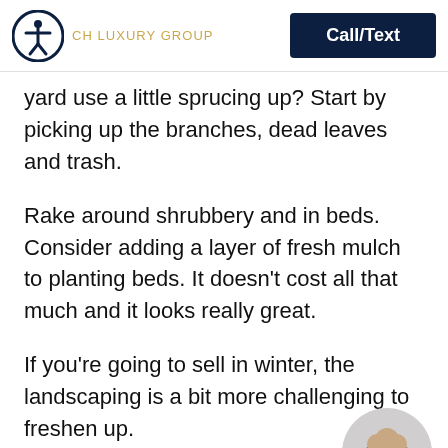CH LUXURY GROUP | Call/Text
yard use a little sprucing up? Start by picking up the branches, dead leaves and trash.
Rake around shrubbery and in beds. Consider adding a layer of fresh mulch to planting beds. It doesn’t cost all that much and it looks really great.
If you’re going to sell in winter, the landscaping is a bit more challenging to freshen up.
Pops of color are a welcome respite from the